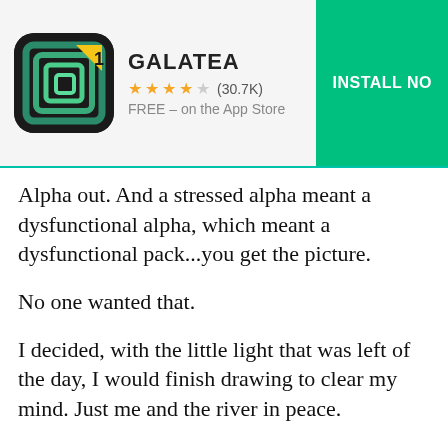[Figure (screenshot): Galatea app advertisement banner with app icon, rating of 4 stars (30.7K), FREE on the App Store, and INSTALL NOW button]
Alpha out. And a stressed alpha meant a dysfunctional alpha, which meant a dysfunctional pack...you get the picture.
No one wanted that.
I decided, with the little light that was left of the day, I would finish drawing to clear my mind. Just me and the river in peace.
But all I could see were Aiden Norwood's eyes.
And how very wrong I had drawn them. The Alpha was right. I could do better.